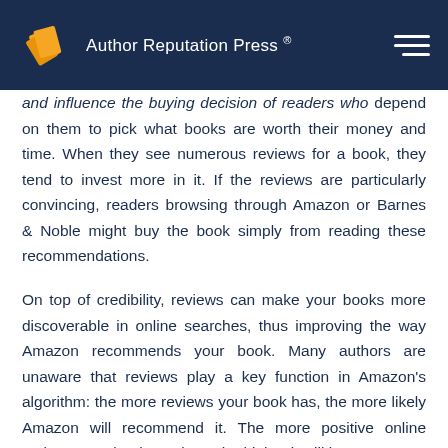Author Reputation Press ®
and influence the buying decision of readers who depend on them to pick what books are worth their money and time. When they see numerous reviews for a book, they tend to invest more in it. If the reviews are particularly convincing, readers browsing through Amazon or Barnes & Noble might buy the book simply from reading these recommendations.

On top of credibility, reviews can make your books more discoverable in online searches, thus improving the way Amazon recommends your book. Many authors are unaware that reviews play a key function in Amazon's algorithm: the more reviews your book has, the more likely Amazon will recommend it. The more positive online reviews your book receives, the higher it will be